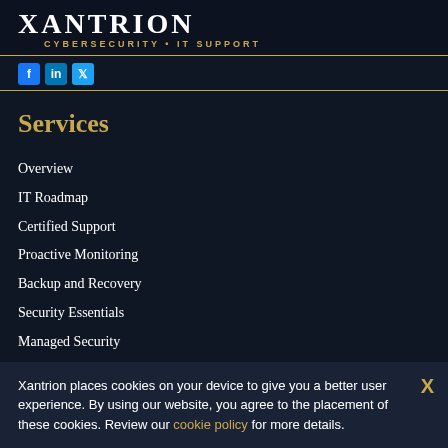XANTRION CYBERSECURITY · IT SUPPORT
[Figure (other): Social media icons: Facebook, LinkedIn, Twitter]
Services
Overview
IT Roadmap
Certified Support
Proactive Monitoring
Backup and Recovery
Security Essentials
Managed Security
Cloud Strategy
Resources
Xantrion places cookies on your device to give you a better user experience. By using our website, you agree to the placement of these cookies. Review our cookie policy for more details.